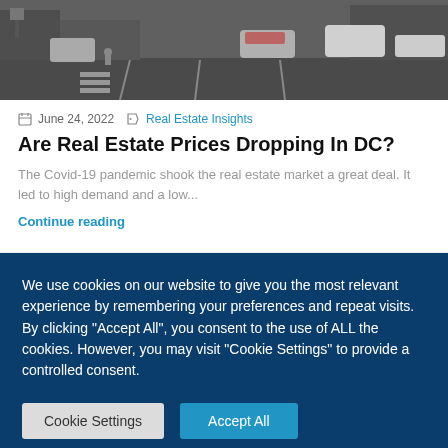[Figure (photo): Aerial/street-level grayscale photo of an urban intersection with cars and traffic markings]
June 24, 2022  Real Estate Insights
Are Real Estate Prices Dropping In DC?
The Covid-19 pandemic shook the real estate market a great deal. It led to high demand and a low...
Continue reading
We use cookies on our website to give you the most relevant experience by remembering your preferences and repeat visits. By clicking "Accept All", you consent to the use of ALL the cookies. However, you may visit "Cookie Settings" to provide a controlled consent.